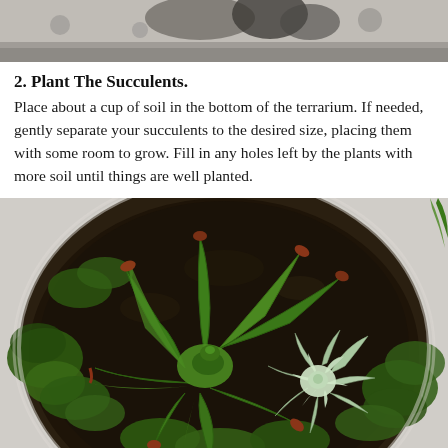[Figure (photo): Top portion of a photo showing dark soil and gravel, partially cropped at the top of the page]
2. Plant The Succulents.
Place about a cup of soil in the bottom of the terrarium. If needed, gently separate your succulents to the desired size, placing them with some room to grow. Fill in any holes left by the plants with more soil until things are well planted.
[Figure (photo): Overhead view of a glass terrarium bowl containing succulents planted in dark soil with green moss around the edges. A tall green succulent with red-tipped leaves dominates the left and center, while a pale blue-green rosette succulent sits on the right.]